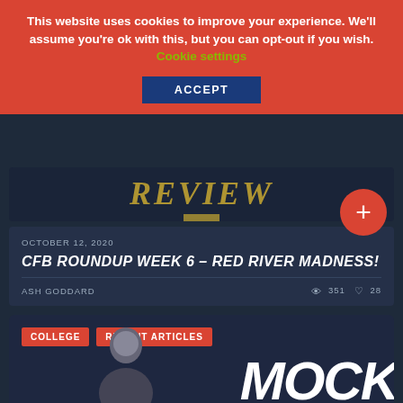This website uses cookies to improve your experience. We'll assume you're ok with this, but you can opt-out if you wish. Cookie settings ACCEPT
[Figure (screenshot): Dark navy background with stylized italic gold text 'REVIEW' and a small gold bar underneath]
OCTOBER 12, 2020
CFB ROUNDUP WEEK 6 – RED RIVER MADNESS!
ASH GODDARD  351  28
[Figure (screenshot): Bottom card showing COLLEGE and RECENT ARTICLES tags in red, a person in a suit, and large white italic MOCK text on dark navy background]